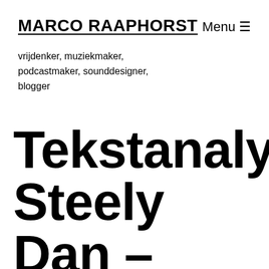MARCO RAAPHORST   Menu ☰
vrijdenker, muziekmaker, podcastmaker, sounddesigner, blogger
Tekstanalyse: Steely Dan – Time Out Of